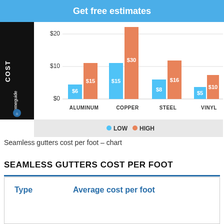Get free estimates
[Figure (grouped-bar-chart): Seamless gutters cost per foot]
Seamless gutters cost per foot – chart
SEAMLESS GUTTERS COST PER FOOT
| Type | Average cost per foot |
| --- | --- |